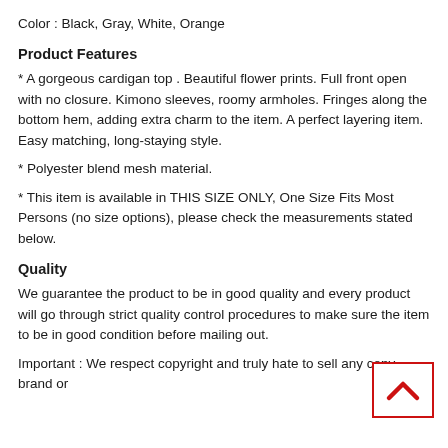Color : Black, Gray, White, Orange
Product Features
* A gorgeous cardigan top . Beautiful flower prints. Full front open with no closure. Kimono sleeves, roomy armholes. Fringes along the bottom hem, adding extra charm to the item. A perfect layering item. Easy matching, long-staying style.
* Polyester blend mesh material.
* This item is available in THIS SIZE ONLY, One Size Fits Most Persons (no size options), please check the measurements stated below.
Quality
We guarantee the product to be in good quality and every product will go through strict quality control procedures to make sure the item to be in good condition before mailing out.
Important : We respect copyright and truly hate to sell any copy brand or